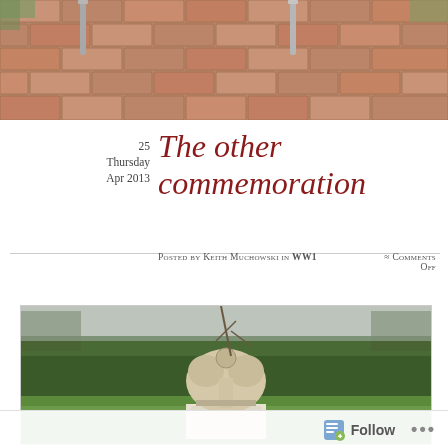[Figure (photo): Aerial/ground-level view of a herringbone brick paved path with metal poles/posts, surrounded by green foliage at the edges.]
25
Thursday
Apr 2013
The other commemoration
Posted by Keith Muchowski in WW1 ≈ Comments Off
[Figure (photo): Stone sculpture — Ashoka lion capital — on a white plinth on a green lawn, with a dark hedge and bare trees in the background.]
Follow